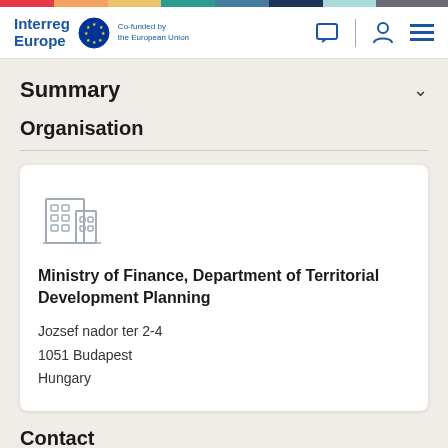Interreg Europe — Co-funded by the European Union
Summary
Organisation
Ministry of Finance, Department of Territorial Development Planning
Jozsef nador ter 2-4
1051 Budapest
Hungary
Contact